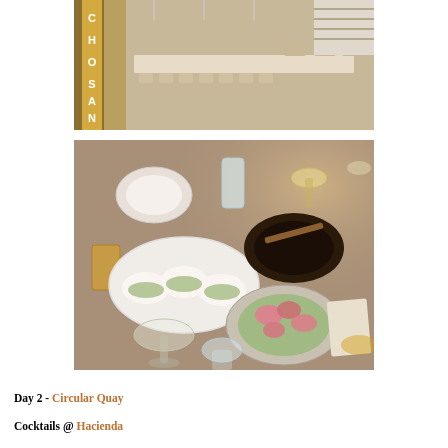[Figure (photo): Interior of Cho San restaurant showing a long communal table with stools and shelving in the background, minimalist decor with a yellow door on the left with letters C, H, O, S, A, N]
[Figure (photo): Overhead view of a restaurant table at Cho San with food dishes including bao buns on a white oval plate, a dark bowl with a skewer dish, a bowl with seafood in green sauce, and multiple wine and water glasses]
Day 2 - Circular Quay
Cocktails @ Hacienda
I was in Cuba! Well, it felt like I was in Cuba! (Sydney) being by the